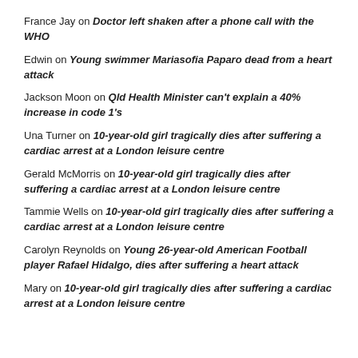France Jay on Doctor left shaken after a phone call with the WHO
Edwin on Young swimmer Mariasofia Paparo dead from a heart attack
Jackson Moon on Qld Health Minister can't explain a 40% increase in code 1's
Una Turner on 10-year-old girl tragically dies after suffering a cardiac arrest at a London leisure centre
Gerald McMorris on 10-year-old girl tragically dies after suffering a cardiac arrest at a London leisure centre
Tammie Wells on 10-year-old girl tragically dies after suffering a cardiac arrest at a London leisure centre
Carolyn Reynolds on Young 26-year-old American Football player Rafael Hidalgo, dies after suffering a heart attack
Mary on 10-year-old girl tragically dies after suffering a cardiac arrest at a London leisure centre